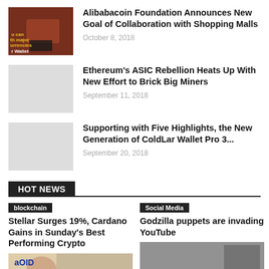[Figure (photo): Thumbnail image of a person holding a card/wallet with text overlay about currencies]
Alibabacoin Foundation Announces New Goal of Collaboration with Shopping Malls
October 8, 2018
Ethereum's ASIC Rebellion Heats Up With New Effort to Brick Big Miners
September 11, 2018
Supporting with Five Highlights, the New Generation of ColdLar Wallet Pro 3...
September 20, 2018
HOT NEWS
blockchain
Stellar Surges 19%, Cardano Gains in Sunday's Best Performing Crypto
Social Media
Godzilla puppets are invading YouTube
[Figure (photo): Bottom left thumbnail image]
[Figure (photo): Bottom right thumbnail image]